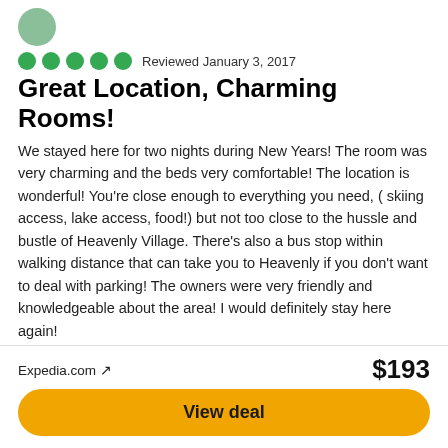Reviewed January 3, 2017
Great Location, Charming Rooms!
We stayed here for two nights during New Years! The room was very charming and the beds very comfortable! The location is wonderful! You're close enough to everything you need, ( skiing access, lake access, food!) but not too close to the hussle and bustle of Heavenly Village. There's also a bus stop within walking distance that can take you to Heavenly if you don't want to deal with parking! The owners were very friendly and knowledgeable about the area! I would definitely stay here again!
Date of stay: January 2017
Trip type: Traveled with friends
Location (5 stars), Rooms (4.5 stars), Service (5 stars)
1 Thank Cstiggy3
Expedia.com ↗
$193
View deal